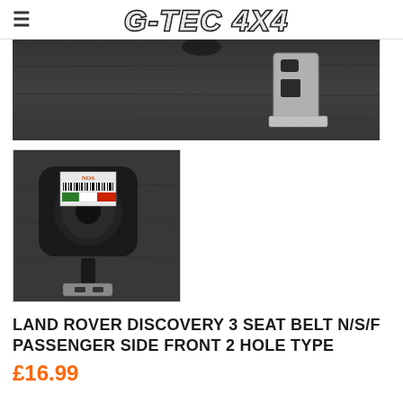G-TEC 4X4
[Figure (photo): Product photo top: seat belt bracket/anchor hardware on dark wooden surface, showing metal bracket with holes]
[Figure (photo): Product photo bottom: Land Rover seat belt retractor/reel unit, black plastic housing with NOS label sticker and barcode on dark surface]
LAND ROVER DISCOVERY 3 SEAT BELT N/S/F PASSENGER SIDE FRONT 2 HOLE TYPE
£16.99